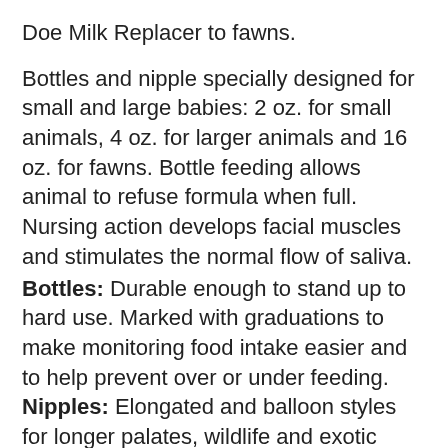Doe Milk Replacer to fawns.
Bottles and nipple specially designed for small and large babies: 2 oz. for small animals, 4 oz. for larger animals and 16 oz. for fawns. Bottle feeding allows animal to refuse formula when full. Nursing action develops facial muscles and stimulates the normal flow of saliva.
Bottles: Durable enough to stand up to hard use. Marked with graduations to make monitoring food intake easier and to help prevent over or under feeding. Nipples: Elongated and balloon styles for longer palates, wildlife and exotic species. Constructed of durable, flexible silicon that are readily acceptable and latex-free.
Before use make a hole in the nipple using one of the following methods: Cross cut nipple with a razor blade. Using a to...